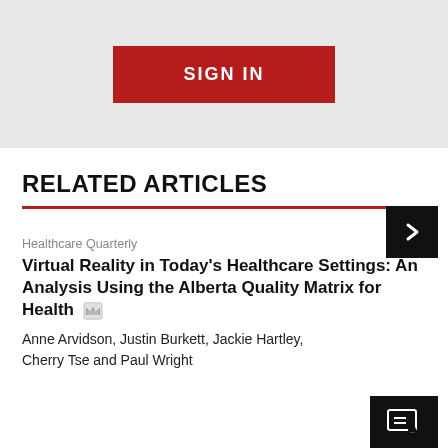[Figure (other): SIGN IN button on grey background]
RELATED ARTICLES
Healthcare Quarterly
Virtual Reality in Today's Healthcare Settings: An Analysis Using the Alberta Quality Matrix for Health
Anne Arvidson, Justin Burkett, Jackie Hartley, Cherry Tse and Paul Wright